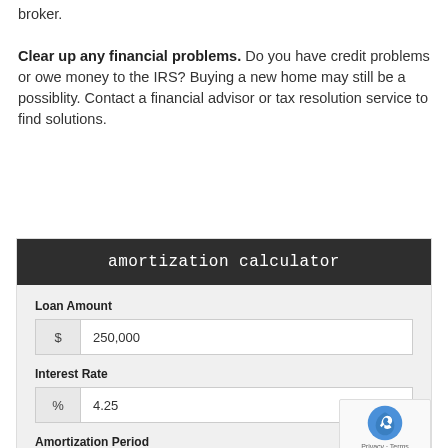broker. Clear up any financial problems. Do you have credit problems or owe money to the IRS? Buying a new home may still be a possiblity. Contact a financial advisor or tax resolution service to find solutions.
amortization calculator
Loan Amount
$ 250,000
Interest Rate
% 4.25
Amortization Period